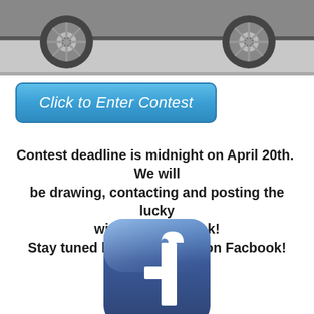[Figure (photo): Bottom portion of a car (wheels and undercarriage visible) photographed on a gray surface]
[Figure (other): Blue rounded rectangle button with italic white text reading 'Click to Enter Contest']
Contest deadline is midnight on April 20th.  We will be drawing, contacting and posting the lucky winners next week!
Stay tuned by following us on Facbook!
[Figure (logo): Facebook logo: blue rounded square icon with white lowercase 'f' letter]